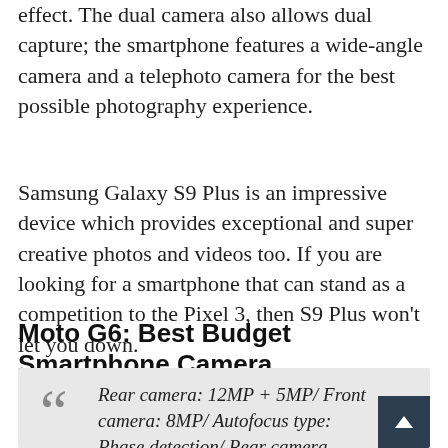effect. The dual camera also allows dual capture; the smartphone features a wide-angle camera and a telephoto camera for the best possible photography experience.
Samsung Galaxy S9 Plus is an impressive device which provides exceptional and super creative photos and videos too. If you are looking for a smartphone that can stand as a competition to the Pixel 3, then S9 Plus won't let you down.
Moto G6: Best Budget Smartphone Camera
Rear camera: 12MP + 5MP/ Front camera: 8MP/ Autofocus type: Phase detection/ Rear camera aperture: f1.8. Price starts at €180 or $250.